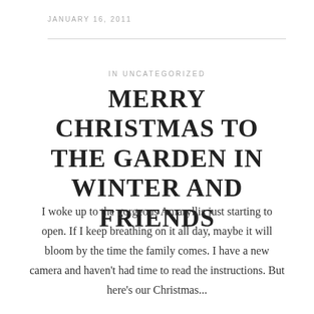JANUARY 16, 2011
IN UNCATEGORIZED
MERRY CHRISTMAS TO THE GARDEN IN WINTER AND FRIENDS
I woke up to the gorgeous Amaryllis just starting to open. If I keep breathing on it all day, maybe it will bloom by the time the family comes. I have a new camera and haven't had time to read the instructions. But here's our Christmas...